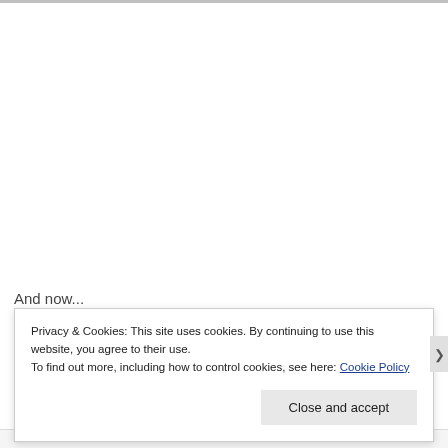And now...
Privacy & Cookies: This site uses cookies. By continuing to use this website, you agree to their use.
To find out more, including how to control cookies, see here: Cookie Policy
Close and accept
REPORT THIS AD